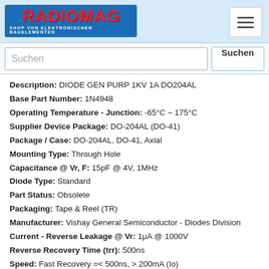RADIOMAG - SHOP VON ELEKTRONISCHEN BAUELEMENTEN
Suchen
Description: DIODE GEN PURP 1KV 1A DO204AL
Base Part Number: 1N4948
Operating Temperature - Junction: -65°C ~ 175°C
Supplier Device Package: DO-204AL (DO-41)
Package / Case: DO-204AL, DO-41, Axial
Mounting Type: Through Hole
Capacitance @ Vr, F: 15pF @ 4V, 1MHz
Diode Type: Standard
Part Status: Obsolete
Packaging: Tape & Reel (TR)
Manufacturer: Vishay General Semiconductor - Diodes Division
Current - Reverse Leakage @ Vr: 1μA @ 1000V
Reverse Recovery Time (trr): 500ns
Speed: Fast Recovery =< 500ns, > 200mA (Io)
Voltage - Forward (Vf) (Max) @ If: 1.3V @ 1A
Current - Average Rectified (Io): 1A
Voltage - DC Reverse (Vr) (Max): 1000V
Produkt ist nicht verfügbar, Sie können Anfrage senden wenn Sie Produkt in den Warenkorb hinzufügen